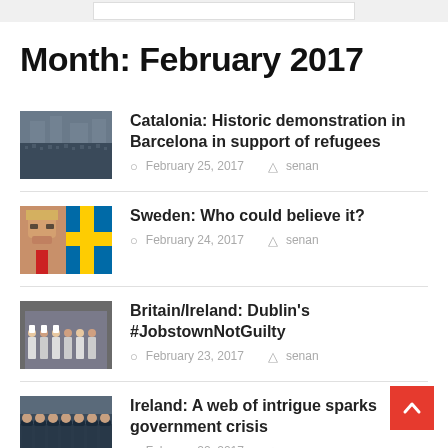Month: February 2017
Catalonia: Historic demonstration in Barcelona in support of refugees — February 25, 2017 — senan
Sweden: Who could believe it? — February 24, 2017 — senan
Britain/Ireland: Dublin's #JobstownNotGuilty — February 23, 2017 — senan
Ireland: A web of intrigue sparks government crisis — February 22, 2017 — senan